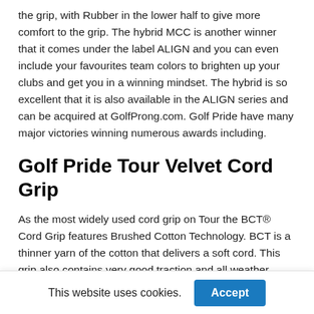the grip, with Rubber in the lower half to give more comfort to the grip. The hybrid MCC is another winner that it comes under the label ALIGN and you can even include your favourites team colors to brighten up your clubs and get you in a winning mindset. The hybrid is so excellent that it is also available in the ALIGN series and can be acquired at GolfProng.com. Golf Pride have many major victories winning numerous awards including.
Golf Pride Tour Velvet Cord Grip
As the most widely used cord grip on Tour the BCT® Cord Grip features Brushed Cotton Technology. BCT is a thinner yarn of the cotton that delivers a soft cord. This grip also contains very good traction and all weather performance
This website uses cookies.